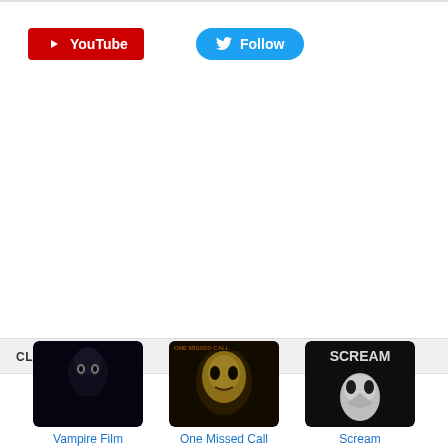[Figure (other): YouTube button (red rounded rectangle with play icon and 'YouTube' text)]
[Figure (other): Twitter Follow button (blue rounded pill with bird icon and 'Follow' text)]
CLUB ASSOCIATI
[Figure (photo): Dark horror movie thumbnail - Vampire Film]
Vampire Film
[Figure (photo): Dark horror movie thumbnail - One Missed Call]
One Missed Call
[Figure (photo): Scream movie poster thumbnail with ghost face mask]
Scream